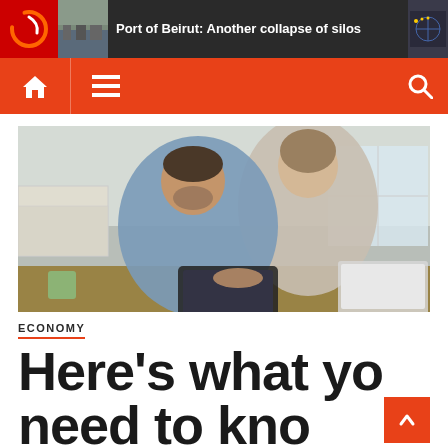Port of Beirut: Another collapse of silos
[Figure (screenshot): Website navigation bar with home icon, hamburger menu icon, and search icon on orange background]
[Figure (photo): A man and a woman looking at a tablet together at a kitchen table, appearing to review financial documents]
ECONOMY
Here's what you need to know